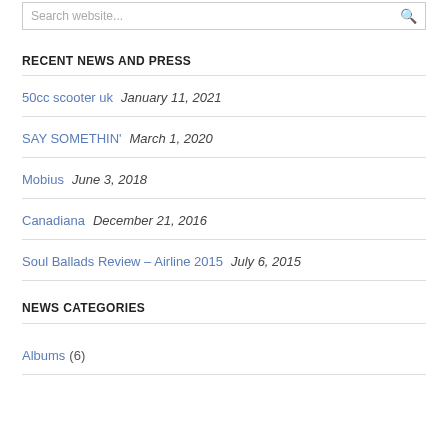Search website...
RECENT NEWS AND PRESS
50cc scooter uk   January 11, 2021
SAY SOMETHIN'   March 1, 2020
Mobius   June 3, 2018
Canadiana   December 21, 2016
Soul Ballads Review – Airline 2015   July 6, 2015
NEWS CATEGORIES
Albums (6)